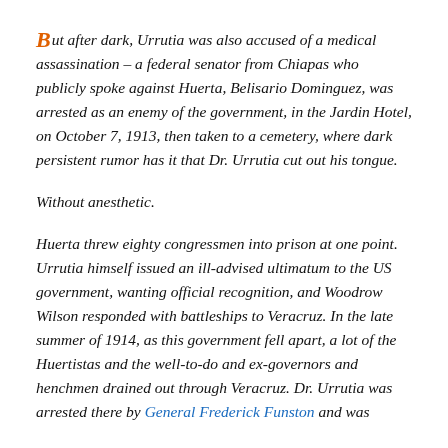But after dark, Urrutia was also accused of a medical assassination – a federal senator from Chiapas who publicly spoke against Huerta, Belisario Dominguez, was arrested as an enemy of the government, in the Jardin Hotel, on October 7, 1913, then taken to a cemetery, where dark persistent rumor has it that Dr. Urrutia cut out his tongue.
Without anesthetic.
Huerta threw eighty congressmen into prison at one point. Urrutia himself issued an ill-advised ultimatum to the US government, wanting official recognition, and Woodrow Wilson responded with battleships to Veracruz. In the late summer of 1914, as this government fell apart, a lot of the Huertistas and the well-to-do and ex-governors and henchmen drained out through Veracruz. Dr. Urrutia was arrested there by General Frederick Funston and was